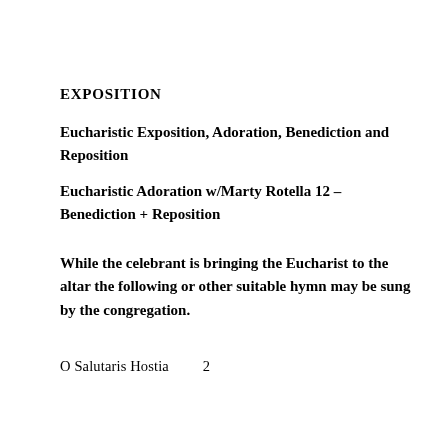EXPOSITION
Eucharistic Exposition, Adoration, Benediction and Reposition
Eucharistic Adoration w/Marty Rotella 12 – Benediction + Reposition
While the celebrant is bringing the Eucharist to the altar the following or other suitable hymn may be sung by the congregation.
O Salutaris Hostia          2